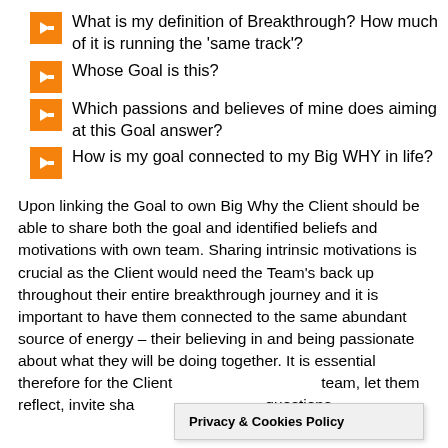What is my definition of Breakthrough? How much of it is running the ‘same track’?
Whose Goal is this?
Which passions and believes of mine does aiming at this Goal answer?
How is my goal connected to my Big WHY in life?
Upon linking the Goal to own Big Why the Client should be able to share both the goal and identified beliefs and motivations with own team. Sharing intrinsic motivations is crucial as the Client would need the Team’s back up throughout their entire breakthrough journey and it is important to have them connected to the same abundant source of energy – their believing in and being passionate about what they will be doing together. It is essential therefore for the Client to present this to the team, let them reflect, invite sha... questions